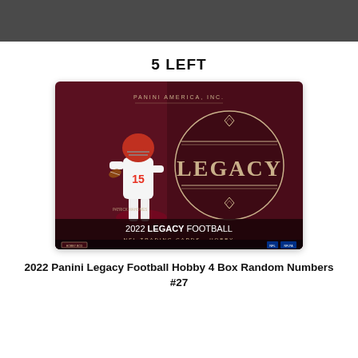5 LEFT
[Figure (photo): 2022 Panini Legacy Football Hobby box product image featuring a football player in a Kansas City Chiefs uniform (number 15) on a dark maroon background with a circular 'LEGACY' logo medallion, text reading 'PANINI AMERICA, INC.' at top, '2022 LEGACY FOOTBALL' and 'NFL TRADING CARDS · HOBBY' at bottom.]
2022 Panini Legacy Football Hobby 4 Box Random Numbers #27